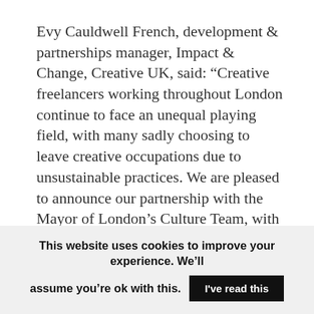Evy Cauldwell French, development & partnerships manager, Impact & Change, Creative UK, said: “Creative freelancers working throughout London continue to face an unequal playing field, with many sadly choosing to leave creative occupations due to unsustainable practices. We are pleased to announce our partnership with the Mayor of London’s Culture Team, with whom we are empowering organisations and freelancers working across London’s creative economy to create a more sustainable future for our growing workforce.”
This website uses cookies to improve your experience. We’ll assume you’re ok with this. I’ve read this